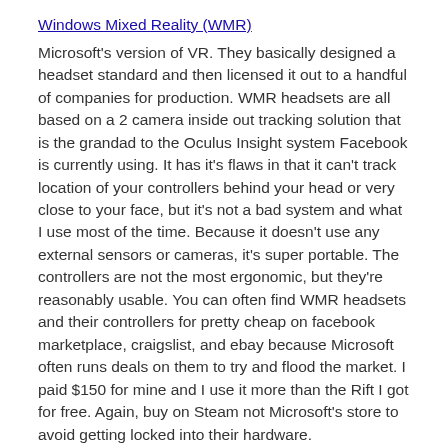Windows Mixed Reality (WMR)
Microsoft's version of VR. They basically designed a headset standard and then licensed it out to a handful of companies for production. WMR headsets are all based on a 2 camera inside out tracking solution that is the grandad to the Oculus Insight system Facebook is currently using. It has it's flaws in that it can't track location of your controllers behind your head or very close to your face, but it's not a bad system and what I use most of the time. Because it doesn't use any external sensors or cameras, it's super portable. The controllers are not the most ergonomic, but they're reasonably usable. You can often find WMR headsets and their controllers for pretty cheap on facebook marketplace, craigslist, and ebay because Microsoft often runs deals on them to try and flood the market. I paid $150 for mine and I use it more than the Rift I got for free. Again, buy on Steam not Microsoft's store to avoid getting locked into their hardware.